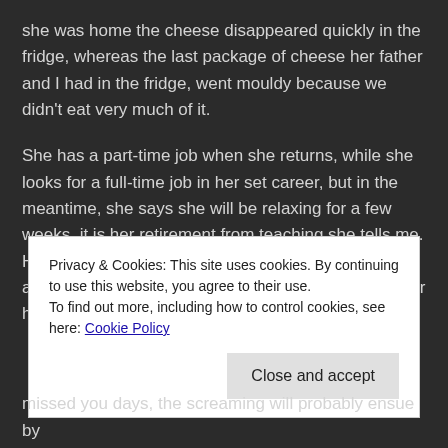she was home the cheese disappeared quickly in the fridge, whereas the last package of cheese her father and I had in the fridge, went mouldy because we didn't eat very much of it.
She has a part-time job when she returns, while she looks for a full-time job in her set career, but in the meantime, she says she will be relaxing for a few weeks, it is her retirement from teaching she tells me. Ha! I remind her that her father is 54, and will not be able to retire for another ten years, thus retirement for her at twenty-four will not happen.
Privacy & Cookies: This site uses cookies. By continuing to use this website, you agree to their use. To find out more, including how to control cookies, see here: Cookie Policy
Close and accept
missed you days, the screaming will probably ensue by